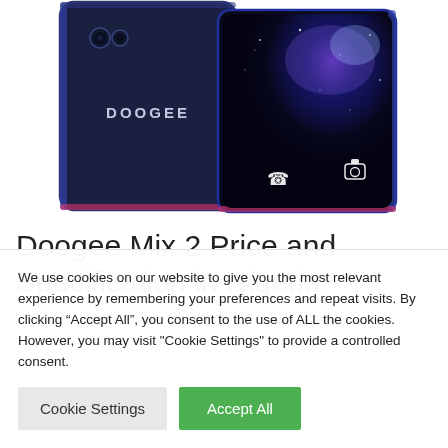[Figure (photo): Two Doogee Mix 2 smartphones shown side by side — one showing the dark blue back with the DOOGEE logo, and one showing the front screen with a galaxy/space wallpaper and phone UI icons.]
Doogee Mix 2 Price and Specification in Nigeria
We use cookies on our website to give you the most relevant experience by remembering your preferences and repeat visits. By clicking “Accept All”, you consent to the use of ALL the cookies. However, you may visit "Cookie Settings" to provide a controlled consent.